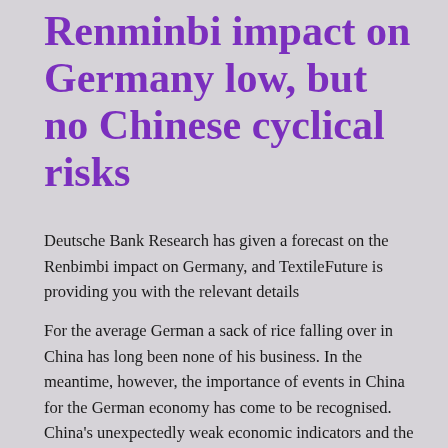Renminbi impact on Germany low, but no Chinese cyclical risks
Deutsche Bank Research has given a forecast on the Renbimbi impact on Germany, and TextileFuture is providing you with the relevant details
For the average German a sack of rice falling over in China has long been none of his business. In the meantime, however, the importance of events in China for the German economy has come to be recognised. China's unexpectedly weak economic indicators and the fluctuations in the Chinese stock market have increased the scepticism over recent months about whether China will achieve the growth target set by the government for this year of around 7 %.